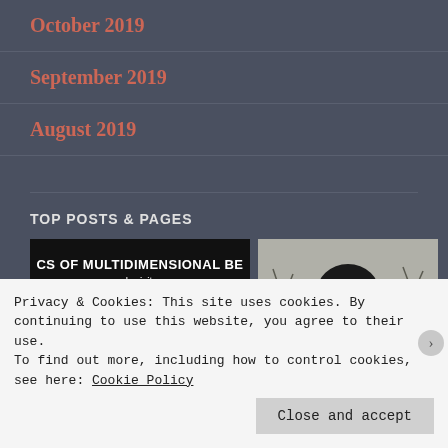October 2019
September 2019
August 2019
TOP POSTS & PAGES
[Figure (screenshot): Two blog post thumbnail images side by side. Left image is dark/black with text 'CS OF MULTIDIMENSIONAL BE' and 'www.barisity.com' below it, with a cosmic galaxy background at the bottom. Right image shows an illustrated portrait of a Black woman with large afro hair against bare winter trees.]
Privacy & Cookies: This site uses cookies. By continuing to use this website, you agree to their use.
To find out more, including how to control cookies, see here: Cookie Policy
Close and accept